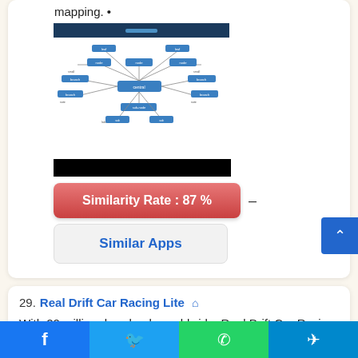mapping. •
[Figure (other): Mind map diagram screenshot showing a central node with multiple connected sub-nodes in blue, on a white background with a dark blue header bar.]
[Figure (other): Black redacted bar]
Similarity Rate : 87 %
Similar Apps
29. Real Drift Car Racing Lite
With 20 million downloads worldwide, Real Drift Car Racing is the most realistic drift racing game